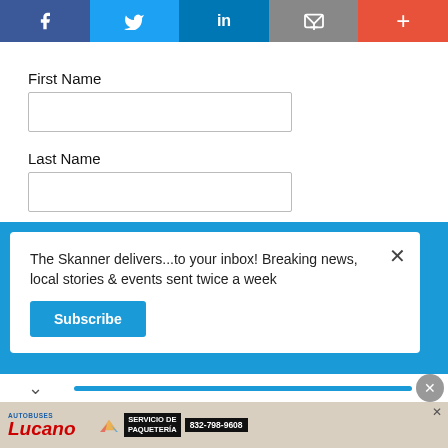[Figure (other): Social sharing bar with Facebook, Twitter, LinkedIn, Email, and More (+) buttons]
First Name
Last Name
The Skanner delivers...to your inbox! Breaking news, local stories & events sent twice a week
Subscribe
[Figure (other): Autobuses Lucano advertisement - SERVICIO DE PAQUETERÍA - 832-798-9608]